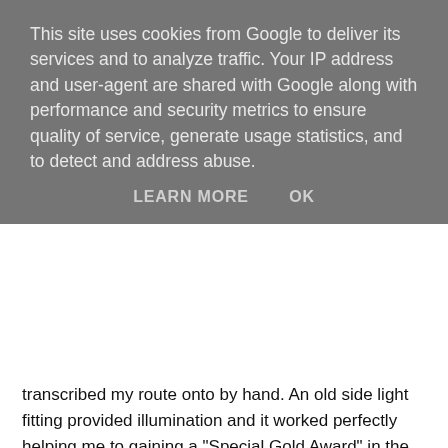This site uses cookies from Google to deliver its services and to analyze traffic. Your IP address and user-agent are shared with Google along with performance and security metrics to ensure quality of service, generate usage statistics, and to detect and address abuse.
LEARN MORE    OK
transcribed my route onto by hand. An old side light fitting provided illumination and it worked perfectly helping me to gaining a "Special Gold Award" in the Rally.
But I have never raced and navigated at the same time and whilst I love navigation (and have a degree in Geography and training as a cartographer) I wasn't sure if I'd be able to hack it? Well there was only one way to find out!
I built the bike up into full rally spec on the Friday afternoon and after only a rudimentary check that everything was working OK I loaded up the bike on the trailer and on Saturday morning headed off to Wales.